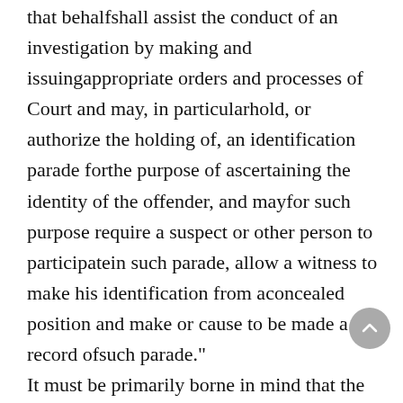that behalfshall assist the conduct of an investigation by making and issuingappropriate orders and processes of Court and may, in particularhold, or authorize the holding of, an identification parade forthe purpose of ascertaining the identity of the offender, and mayfor such purpose require a suspect or other person to participatein such parade, allow a witness to make his identification from aconcealed position and make or cause to be made a record ofsuch parade."
It must be primarily borne in mind that the purpose of issuingprocess of Court is to obtain the appearance of a person in Courtand not to secure his presence in any police station or the CIDheadquarters. In addition to a suspect being compelled to attend Courtfor the purpose of an identification parade, as section 124itself indicates